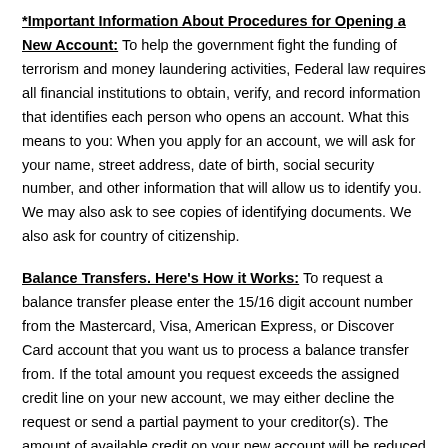*Important Information About Procedures for Opening a New Account: To help the government fight the funding of terrorism and money laundering activities, Federal law requires all financial institutions to obtain, verify, and record information that identifies each person who opens an account. What this means to you: When you apply for an account, we will ask for your name, street address, date of birth, social security number, and other information that will allow us to identify you. We may also ask to see copies of identifying documents. We also ask for country of citizenship.
Balance Transfers. Here's How it Works: To request a balance transfer please enter the 15/16 digit account number from the Mastercard, Visa, American Express, or Discover Card account that you want us to process a balance transfer from. If the total amount you request exceeds the assigned credit line on your new account, we may either decline the request or send a partial payment to your creditor(s). The amount of available credit on your new account will be reduced by the amount transferred and the related balance transfer fees. We reserve the right to decline to process any requested